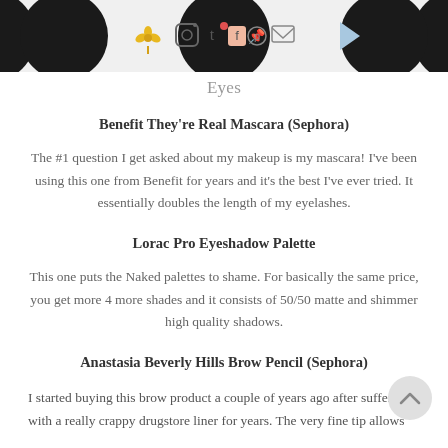[Figure (illustration): Header banner with black semicircle decorative shapes on left and right edges, center icons including a flower/plant icon (gold), Instagram icon, Tumblr 't', Facebook 'f' with notification dot (pink/red), Pinterest icon, email envelope icon, and a blue triangle/paper plane icon on a light gray background.]
Eyes
Benefit They're Real Mascara (Sephora)
The #1 question I get asked about my makeup is my mascara! I've been using this one from Benefit for years and it's the best I've ever tried. It essentially doubles the length of my eyelashes.
Lorac Pro Eyeshadow Palette
This one puts the Naked palettes to shame. For basically the same price, you get more 4 more shades and it consists of 50/50 matte and shimmer high quality shadows.
Anastasia Beverly Hills Brow Pencil (Sephora)
I started buying this brow product a couple of years ago after suffering with a really crappy drugstore liner for years. The very fine tip allows